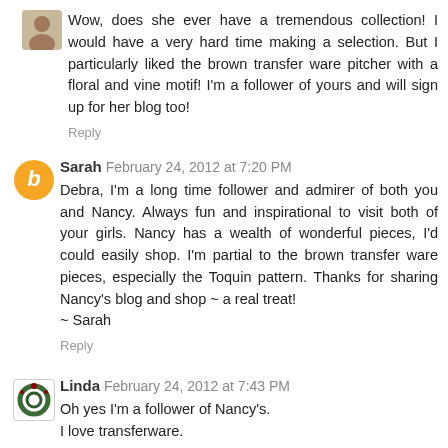Wow, does she ever have a tremendous collection! I would have a very hard time making a selection. But I particularly liked the brown transfer ware pitcher with a floral and vine motif! I'm a follower of yours and will sign up for her blog too!
Reply
Sarah  February 24, 2012 at 7:20 PM
Debra, I'm a long time follower and admirer of both you and Nancy. Always fun and inspirational to visit both of your girls. Nancy has a wealth of wonderful pieces, I'd could easily shop. I'm partial to the brown transfer ware pieces, especially the Toquin pattern. Thanks for sharing Nancy's blog and shop ~ a real treat!
~ Sarah
Reply
Linda  February 24, 2012 at 7:43 PM
Oh yes I'm a follower of Nancy's.
I love transferware.